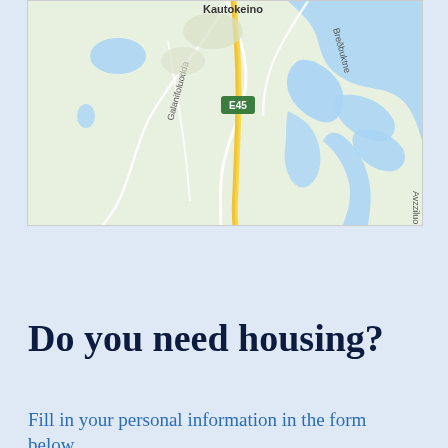[Figure (map): A map showing the area around Kautokeino (Guovdageaidnu), Norway. The map shows a yellow highway route E45 running north-south through the center, a river system with blue water bodies to the right, road labels including 'Galanifoluodda' and 'Breðbuktne', and 'Avzziluo' on the right edge. The map background is light green for land areas.]
Do you need housing?
Fill in your personal information in the form below